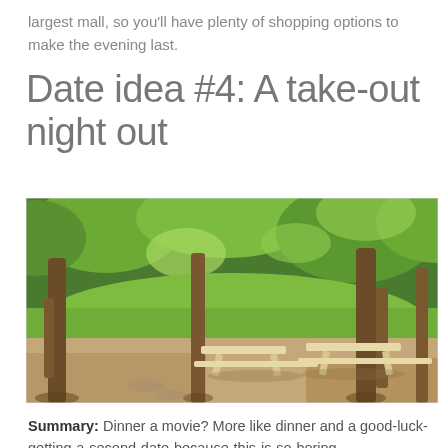largest mall, so you'll have plenty of shopping options to make the evening last.
Date idea #4: A take-out night out
[Figure (photo): Outdoor park scene with picnic tables under leafy trees, green grass in background, gravel and dirt path in foreground.]
Summary: Dinner a movie? More like dinner and a good-luck-getting-a-second-date-because-this-is-so-boring.